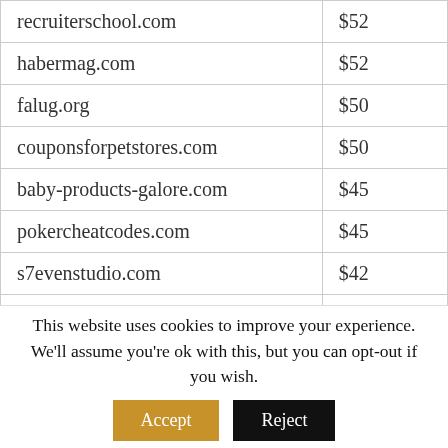| recruiterschool.com | $52 |
| habermag.com | $52 |
| falug.org | $50 |
| couponsforpetstores.com | $50 |
| baby-products-galore.com | $45 |
| pokercheatcodes.com | $45 |
| s7evenstudio.com | $42 |
| masstweeting.com | $40 |
| futhead.co | $40 |
| kxqu.com | $38 |
This website uses cookies to improve your experience. We'll assume you're ok with this, but you can opt-out if you wish. Accept Reject